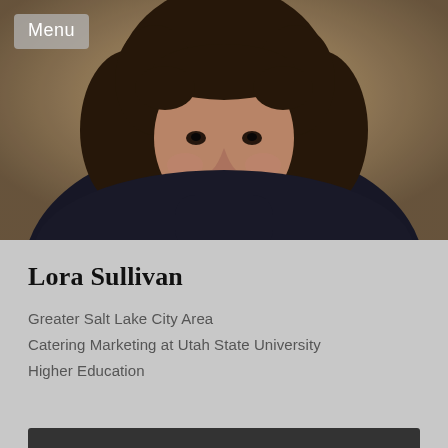[Figure (photo): Portrait photo of Lora Sullivan, a woman with curly dark hair wearing a dark turtleneck sweater, resting her chin on her hand and smiling]
Menu
Lora Sullivan
Greater Salt Lake City Area
Catering Marketing at Utah State University
Higher Education